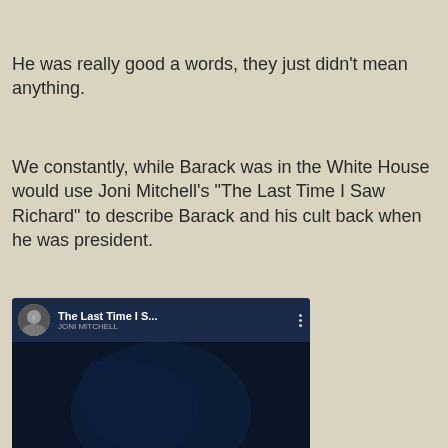He was really good a words, they just didn't mean anything.
We constantly, while Barack was in the White House would use Joni Mitchell's "The Last Time I Saw Richard" to describe Barack and his cult back when he was president.
[Figure (screenshot): YouTube video thumbnail for 'The Last Time I S...' by Joni Mitchell, showing a dark blue image with a red YouTube play button in the center and a circular avatar of a woman in the top left corner.]